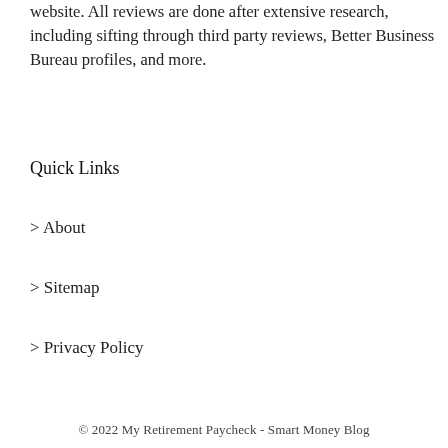website. All reviews are done after extensive research, including sifting through third party reviews, Better Business Bureau profiles, and more.
Quick Links
> About
> Sitemap
> Privacy Policy
© 2022 My Retirement Paycheck - Smart Money Blog